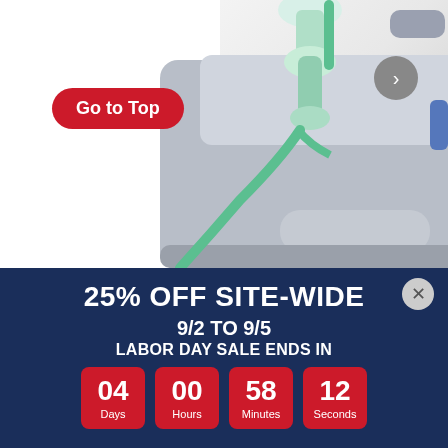[Figure (photo): Close-up photo of a nebulizer/compressor device with green tubing and medication cup attachment, gray plastic body with handle]
Go to Top
25% OFF SITE-WIDE
9/2 TO 9/5
LABOR DAY SALE ENDS IN
04 Days  00 Hours  58 Minutes  12 Seconds